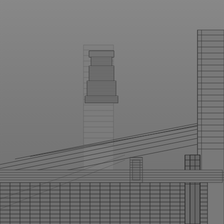[Figure (engineering-diagram): Wireframe architectural rendering of modern buildings shown from a low-angle perspective. Features a tall multi-story tower with horizontal floor plate lines in the center-left, another tall building partially visible on the right edge, and a lower connected structure with glass curtain wall facade in the foreground. All rendered as dark grey outlines on a medium grey background, showing a 3D architectural concept model.]